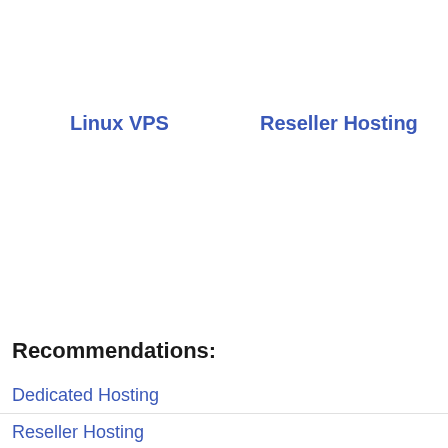Linux VPS
Reseller Hosting
Recommendations:
Dedicated Hosting
Reseller Hosting